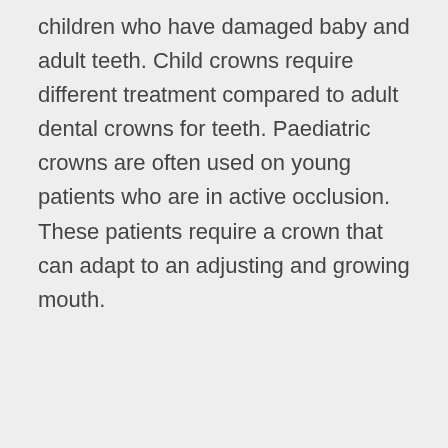children who have damaged baby and adult teeth. Child crowns require different treatment compared to adult dental crowns for teeth. Paediatric crowns are often used on young patients who are in active occlusion. These patients require a crown that can adapt to an adjusting and growing mouth.